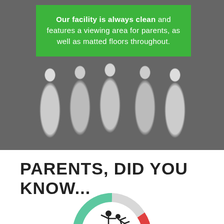[Figure (photo): Grayscale background photo of people in white karate/martial arts uniforms (gi) with a green overlay text box]
Our facility is always clean and features a viewing area for parents, as well as matted floors throughout.
PARENTS, DID YOU KNOW...
[Figure (infographic): Partial gauge/speedometer infographic with green, gray, and red segments and a martial arts figure icon in the center]